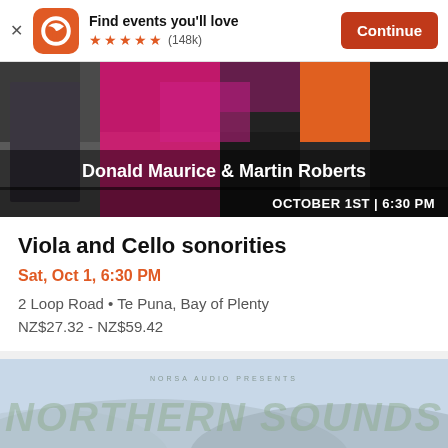Find events you'll love ★★★★★ (148k) Continue
[Figure (photo): Event banner image showing Donald Maurice & Martin Roberts, musical performers with colorful magenta/pink mosaic background. Text reads: Donald Maurice & Martin Roberts, OCTOBER 1ST | 6:30 PM]
Viola and Cello sonorities
Sat, Oct 1, 6:30 PM
2 Loop Road • Te Puna, Bay of Plenty
NZ$27.32 - NZ$59.42
[Figure (photo): Partial image of Northern Sounds event banner, showing 'NORTHERN SOUNDS' text in large stylized green lettering over a light blue/grey landscape background. Small text above reads 'NORSA AUDIO PRESENTS']